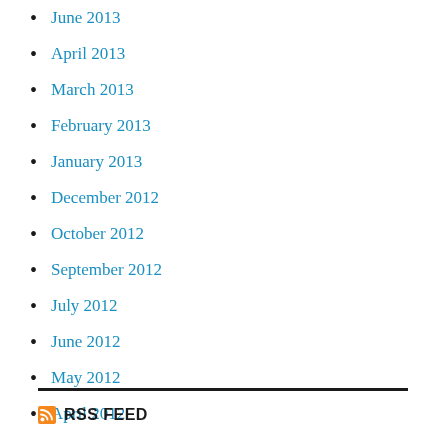June 2013
April 2013
March 2013
February 2013
January 2013
December 2012
October 2012
September 2012
July 2012
June 2012
May 2012
April 2012
RSS FEED